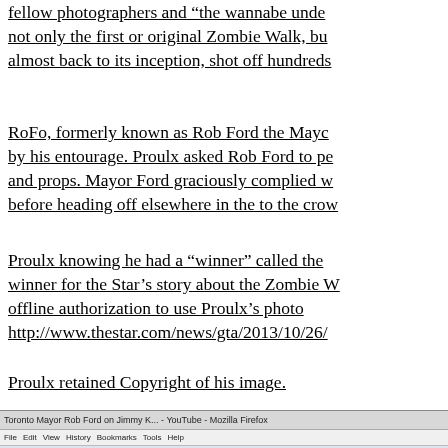fellow photographers and “the wannabe unde... not only the first or original Zombie Walk, bu... almost back to its inception, shot off hundreds...
RoFo, formerly known as Rob Ford the Mayo... by his entourage. Proulx asked Rob Ford to pe... and props. Mayor Ford graciously complied w... before heading off elsewhere in the to the cro...
Proulx knowing he had a “winner” called the ... winner for the Star’s story about the Zombie W... offline authorization to use Proulx’s photo http://www.thestar.com/news/gta/2013/10/26/...
Proulx retained Copyright of his image.
[Figure (screenshot): Browser screenshot showing a YouTube video titled 'Toronto Mayor Rob Ford on Jimmy K...' with tab, menu bar, Facebook buttons, and address bar visible.]